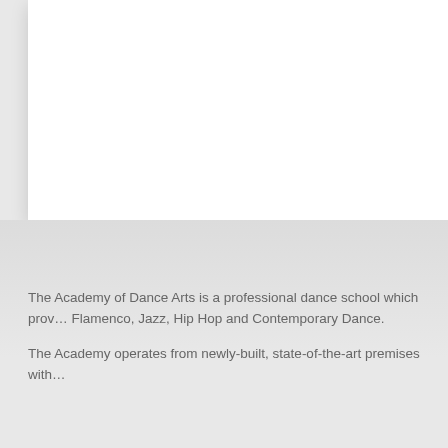[Figure (photo): White card or page element with drop shadow on a light gray background, upper portion of the page.]
The Academy of Dance Arts is a professional dance school which prov... Flamenco, Jazz, Hip Hop and Contemporary Dance.
The Academy operates from newly-built, state-of-the-art premises with...